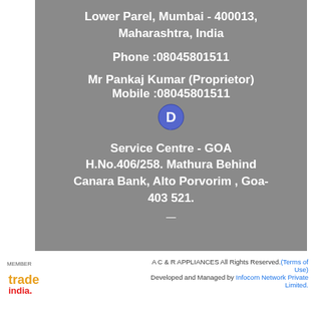Lower Parel, Mumbai - 400013, Maharashtra, India
Phone :08045801511
Mr Pankaj Kumar (Proprietor)
Mobile :08045801511
Service Centre - GOA
H.No.406/258. Mathura Behind Canara Bank, Alto Porvorim , Goa-403 521.
[Figure (logo): TradeIndia member logo with 'MEMBER trade india.' text]
A C & R APPLIANCES All Rights Reserved.(Terms of Use)
Developed and Managed by Infocom Network Private Limited.